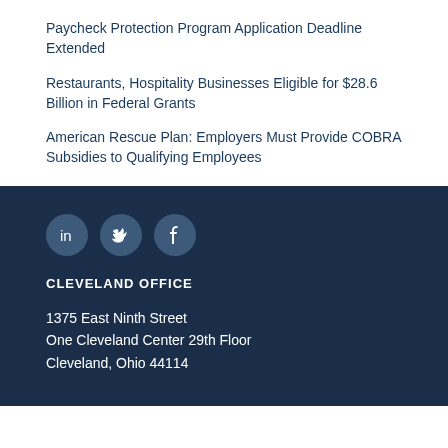Paycheck Protection Program Application Deadline Extended
Restaurants, Hospitality Businesses Eligible for $28.6 Billion in Federal Grants
American Rescue Plan: Employers Must Provide COBRA Subsidies to Qualifying Employees
[Figure (illustration): Three social media icons: LinkedIn, Twitter, Facebook — circular, medium blue on dark navy background]
CLEVELAND OFFICE
1375 East Ninth Street
One Cleveland Center 29th Floor
Cleveland, Ohio 44114